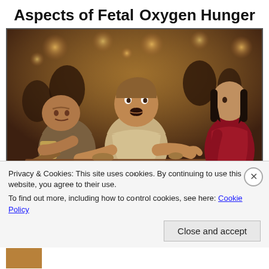Aspects of Fetal Oxygen Hunger
[Figure (illustration): Digital illustration showing three figures in a dramatic scene: a central man leaning forward with a shocked/panicked expression, a heavyset man on the left holding a mug and a wooden plank, and a dark-haired figure in red on the right. The scene has warm, tavern-like amber lighting with bokeh lights in the background.]
Privacy & Cookies: This site uses cookies. By continuing to use this website, you agree to their use.
To find out more, including how to control cookies, see here: Cookie Policy
Close and accept